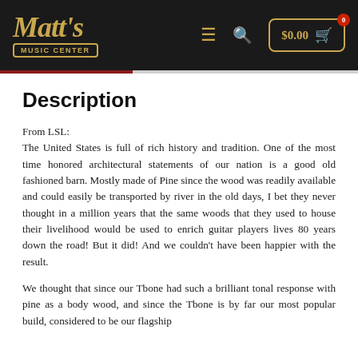Matt's Music Center | $0.00 cart
Description
From LSL:
The United States is full of rich history and tradition. One of the most time honored architectural statements of our nation is a good old fashioned barn. Mostly made of Pine since the wood was readily available and could easily be transported by river in the old days, I bet they never thought in a million years that the same woods that they used to house their livelihood would be used to enrich guitar players lives 80 years down the road! But it did! And we couldn't have been happier with the result.
We thought that since our Tbone had such a brilliant tonal response with pine as a body wood, and since the Tbone is by far our most popular build, considered to be our flagship model, that we should start with that